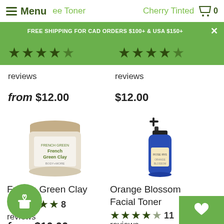Menu | [Cart] 0
FREE SHIPPING FOR CAD ORDERS $100+ & USA $150+
reviews
reviews
from $12.00
$12.00
[Figure (photo): French Green Clay product jar with label]
[Figure (photo): Orange Blossom Facial Toner blue bottle with spray pump]
French Green Clay
★★★★★ 8 reviews
from $10.00
Orange Blossom Facial Toner
★★★★½ 11 reviews